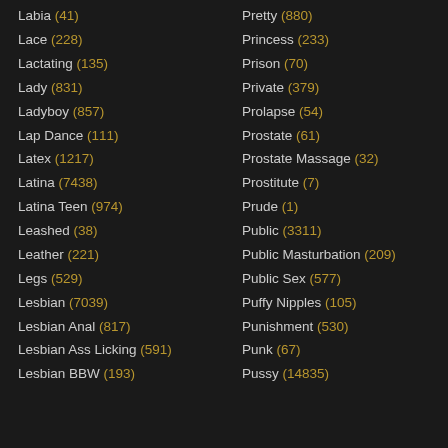Labia (41)
Lace (228)
Lactating (135)
Lady (831)
Ladyboy (857)
Lap Dance (111)
Latex (1217)
Latina (7438)
Latina Teen (974)
Leashed (38)
Leather (221)
Legs (529)
Lesbian (7039)
Lesbian Anal (817)
Lesbian Ass Licking (591)
Lesbian BBW (193)
Pretty (880)
Princess (233)
Prison (70)
Private (379)
Prolapse (54)
Prostate (61)
Prostate Massage (32)
Prostitute (7)
Prude (1)
Public (3311)
Public Masturbation (209)
Public Sex (577)
Puffy Nipples (105)
Punishment (530)
Punk (67)
Pussy (14835)